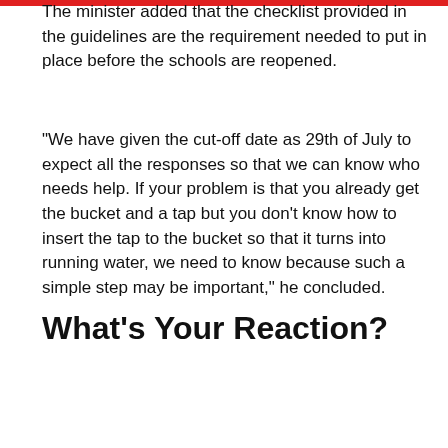The minister added that the checklist provided in the guidelines are the requirement needed to put in place before the schools are reopened.
“We have given the cut-off date as 29th of July to expect all the responses so that we can know who needs help. If your problem is that you already get the bucket and a tap but you don’t know how to insert the tap to the bucket so that it turns into running water, we need to know because such a simple step may be important,” he concluded.
What's Your Reaction?
[Figure (infographic): Three emoji reaction icons: laughing face, shocked/surprised face, angry face. A tooltip reading 'Post Opened' appears over the middle emoji.]